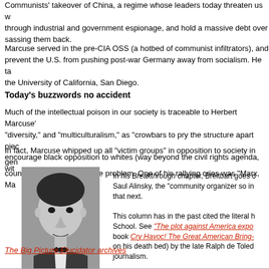Communists' takeover of China, a regime whose leaders today threaten us w... through industrial and government espionage, and hold a massive debt over... sassing them back.
Marcuse served in the pre-CIA OSS (a hotbed of communist infiltrators), and prevent the U.S. from pushing post-war Germany away from socialism. He ta... the University of California, San Diego.
Today's buzzwords no accident
Much of the intellectual poison in our society is traceable to Herbert Marcuse's "diversity," and "multiculturalism," as "crowbars to pry the structure apart pie... encourage black opposition to whites (way beyond the civil rights agenda, wit...
In fact, Marcuse whipped up all "victim groups" in opposition to society in gen... country, you were part of the problem. One of his rallying cries was "Marx, Ma...
[Figure (photo): Black and white portrait photo of Ralph de Toledano, a man in a suit and bow tie]
Ralph de Toledano
In his Breakthrough chapter, Breitbart goes o... Saul Alinsky, the "community organizer so in... that next.
This column has in the past cited the literal h... School. See "The plot against America expo... book Cry Havoc! The Great American Bring-... on his death bed) by the late Ralph de Toled... journalism.
The Big Picture Elucidator archives